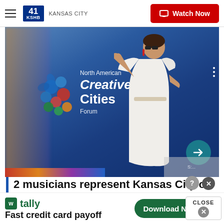41 KSHB KANSAS CITY — Watch Now
[Figure (photo): A woman in a white off-shoulder dress poses in front of a blue banner reading 'North American Creative Cities Forum' at an event.]
2 musicians represent Kansas City on world stage through UNESCO
After spending time at KCPD Metro Patrol
[Figure (infographic): Advertisement banner for Tally: 'Fast credit card payoff' with a Download Now button.]